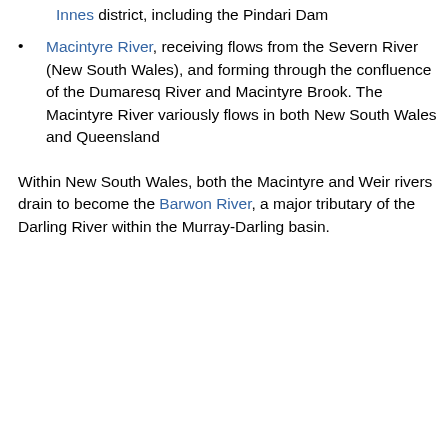Innes district, including the Pindari Dam
Macintyre River, receiving flows from the Severn River (New South Wales), and forming through the confluence of the Dumaresq River and Macintyre Brook. The Macintyre River variously flows in both New South Wales and Queensland
Within New South Wales, both the Macintyre and Weir rivers drain to become the Barwon River, a major tributary of the Darling River within the Murray-Darling basin.